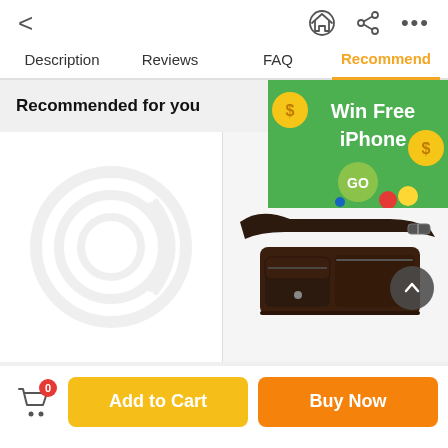[Figure (screenshot): Mobile app top navigation bar with back arrow (<) on left, and home, share, and more (...) icons on right]
Description | Reviews | FAQ | Recommend
Recommended for you
[Figure (photo): Product card placeholder with circular watermark/logo graphic]
[Figure (other): Promotional banner: Win Free iPhone with GO button and coin icons]
[Figure (photo): Dark brown leather fanny pack / waist bag with multiple pockets and buckle strap]
Add to Cart
Buy Now